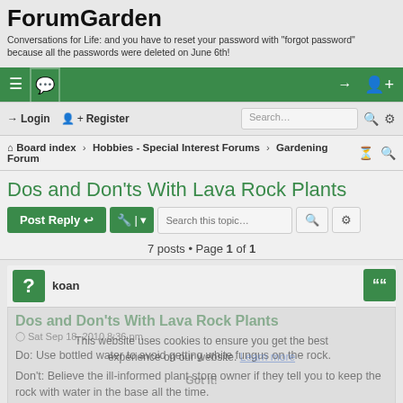ForumGarden
Conversations for Life: and you have to reset your password with "forgot password" because all the passwords were deleted on June 6th!
≡ 💬   Login  Register   Search...   Board index > Hobbies - Special Interest Forums > Gardening Forum
Dos and Don'ts With Lava Rock Plants
7 posts • Page 1 of 1
koan
Dos and Don'ts With Lava Rock Plants
Sat Sep 18, 2010 8:36 pm
Do: Use bottled water to avoid getting white fungus on the rock.
Don't: Believe the ill-informed plant store owner if they tell you to keep the rock with water in the base all the time.